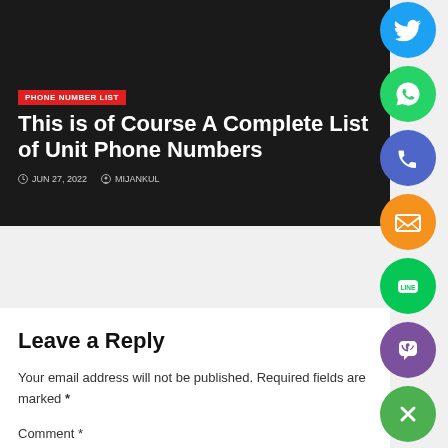[Figure (screenshot): Dark hero banner with red badge, large white title text, and metadata line showing date and author]
This is of Course A Complete List of Unit Phone Numbers
JUN 27, 2022  MIJANKUL
[Figure (infographic): Vertical strip of social media icon circles: Twitter/blue, WhatsApp/green, Phone/purple-blue, Email/orange, LINE/green, Viber/purple, Close/green X]
Leave a Reply
Your email address will not be published. Required fields are marked *
Comment *